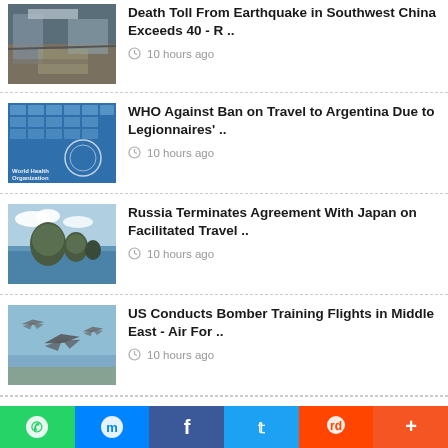Death Toll From Earthquake in Southwest China Exceeds 40 - R .. · 10 hours ago
WHO Against Ban on Travel to Argentina Due to Legionnaires' .. · 10 hours ago
Russia Terminates Agreement With Japan on Facilitated Travel .. · 10 hours ago
US Conducts Bomber Training Flights in Middle East - Air For .. · 10 hours ago
IS Takes Responsibility for Terrorist Attack Near ...